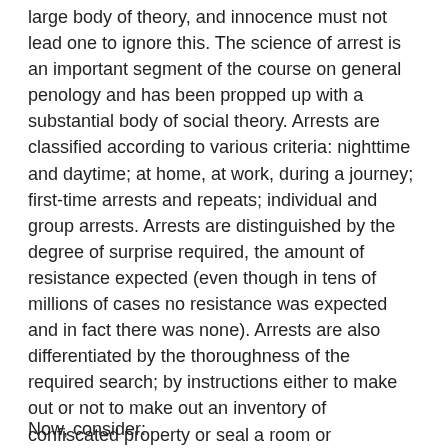large body of theory, and innocence must not lead one to ignore this. The science of arrest is an important segment of the course on general penology and has been propped up with a substantial body of social theory. Arrests are classified according to various criteria: nighttime and daytime; at home, at work, during a journey; first-time arrests and repeats; individual and group arrests. Arrests are distinguished by the degree of surprise required, the amount of resistance expected (even though in tens of millions of cases no resistance was expected and in fact there was none). Arrests are also differentiated by the thoroughness of the required search; by instructions either to make out or not to make out an inventory of confiscated property or seal a room or apartment; to arrest the wife after the husband and send the children to an orphanage, or to send the rest of the family into exile, or to send the old folks to a labor camp too.
Now, consider: